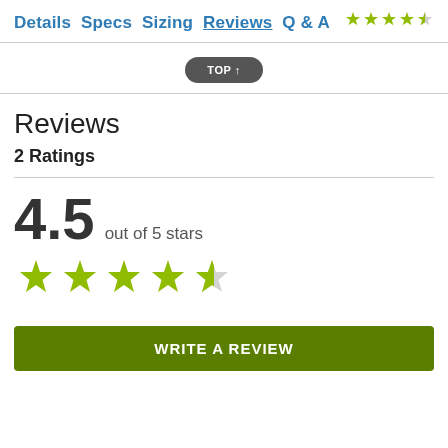Details Specs Sizing Reviews Q & A
[Figure (other): Small star rating showing 4.5 out of 5 stars in olive/green color]
TOP ↑
Reviews
2 Ratings
4.5 out of 5 stars
[Figure (other): Large star rating showing 4.5 out of 5 stars in olive/green color]
WRITE A REVIEW